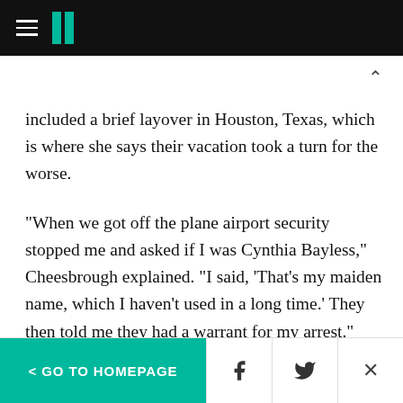HuffPost navigation bar with hamburger menu and logo
included a brief layover in Houston, Texas, which is where she says their vacation took a turn for the worse.

"When we got off the plane airport security stopped me and asked if I was Cynthia Bayless," Cheesbrough explained. "I said, 'That's my maiden name, which I haven't used in a long time.' They then told me they had a warrant for my arrest."
< GO TO HOMEPAGE